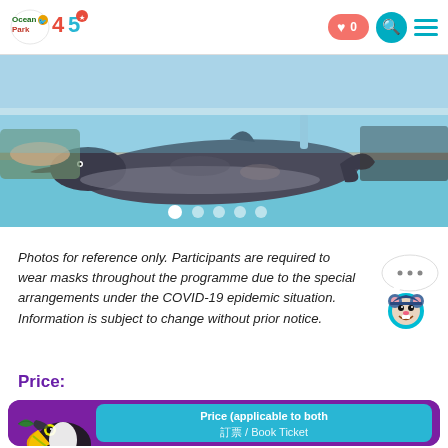Ocean Park 45 — navigation header with heart (0), search, and menu icons
[Figure (photo): Photo of a dolphin being attended to by trainers/staff at a poolside facility with blue water and rubber matting]
Photos for reference only. Participants are required to wear masks throughout the programme due to the special arrangements under the COVID-19 epidemic situation. Information is subject to change without prior notice.
Price:
[Figure (infographic): Purple price card with a toucan mascot illustration and a teal box showing 'Price (applicable to both ...' with Chinese text below]